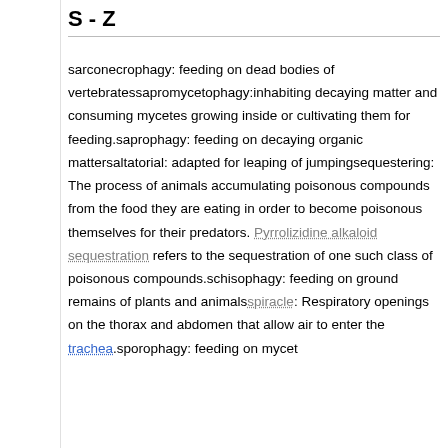S - Z
sarconecrophagy: feeding on dead bodies of vertebratessapromycetophagy:inhabiting decaying matter and consuming mycetes growing inside or cultivating them for feeding.saprophagy: feeding on decaying organic mattersaltatorial: adapted for leaping of jumpingsequestering: The process of animals accumulating poisonous compounds from the food they are eating in order to become poisonous themselves for their predators. Pyrrolizidine alkaloid sequestration refers to the sequestration of one such class of poisonous compounds.schisophagy: feeding on ground remains of plants and animalsspiracle: Respiratory openings on the thorax and abdomen that allow air to enter the trachea.sporophagy: feeding on mycet